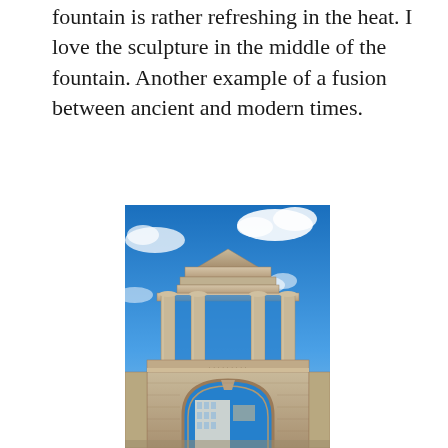fountain is rather refreshing in the heat. I love the sculpture in the middle of the fountain. Another example of a fusion between ancient and modern times.
[Figure (photo): Photograph of Hadrian's Arch (Gate) in Athens, Greece. A large ancient Roman triumphal arch with an archway at the bottom and four Corinthian columns with a pediment at the top. The arch is made of light-colored stone. Behind it, a modern city building is visible. The sky is vivid blue with white clouds. The image has a high-contrast, HDR-style edit.]